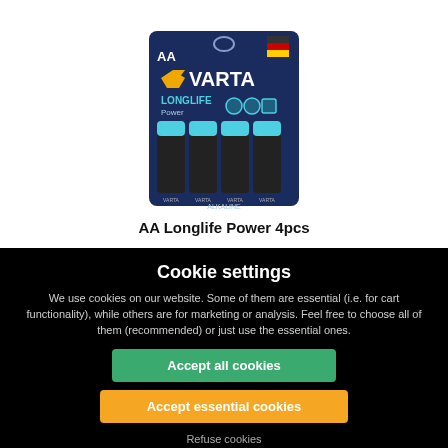[Figure (photo): VARTA AA Longlife Power 4-pack batteries in blue and black packaging]
AA Longlife Power 4pcs
Cookie settings
We use cookies on our website. Some of them are essential (i.e. for cart functionality), while others are for marketing or analysis. Feel free to choose all of them (recommended) or just use the essential ones.
Accept all cookies
Accept essential cookies
Refuse cookies